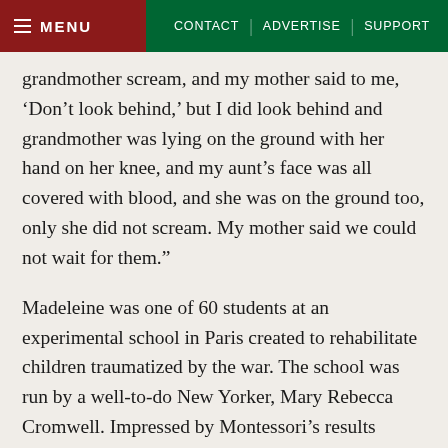MENU | CONTACT | ADVERTISE | SUPPORT
grandmother scream, and my mother said to me, ‘Don’t look behind,’ but I did look behind and grandmother was lying on the ground with her hand on her knee, and my aunt’s face was all covered with blood, and she was on the ground too, only she did not scream. My mother said we could not wait for them.”
Madeleine was one of 60 students at an experimental school in Paris created to rehabilitate children traumatized by the war. The school was run by a well-to-do New Yorker, Mary Rebecca Cromwell. Impressed by Montessori’s results working with children in Italian slums, Cromwell adapted her teaching approach to these war-affected children in Paris. The class activities and